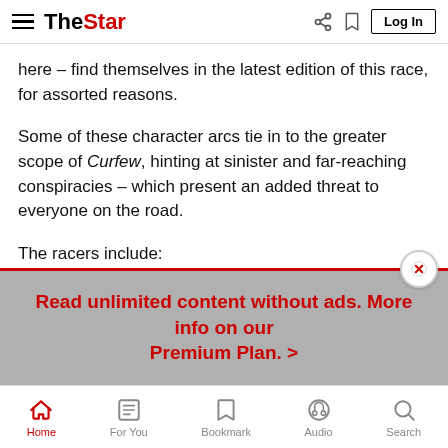The Star — Log In
here – find themselves in the latest edition of this race, for assorted reasons.
Some of these character arcs tie in to the greater scope of Curfew, hinting at sinister and far-reaching conspiracies – which present an added threat to everyone on the road.
The racers include:
The General (Sean Bean), a mean old hothead in a sporty rig with his due-any-day pregnant girlfriend Faith (Rose Williams), who has a rather tragic and twisted backstory;
Read unlimited content without ads. More info on our Premium Plan. >
Home   For You   Bookmark   Audio   Search